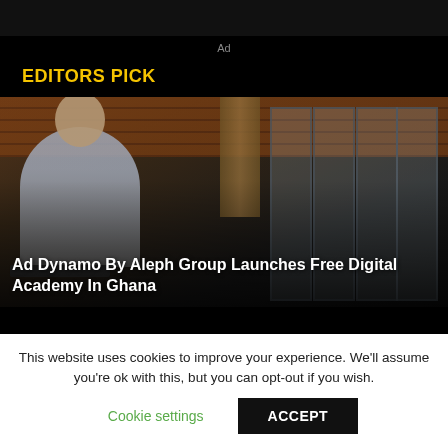Ad
EDITORS PICK
[Figure (photo): A smiling man in a light blue shirt leaning over a laptop in a modern office with brick walls, wood beams, and large glass panel doors in the background.]
Ad Dynamo By Aleph Group Launches Free Digital Academy In Ghana
This website uses cookies to improve your experience. We'll assume you're ok with this, but you can opt-out if you wish.
Cookie settings
ACCEPT